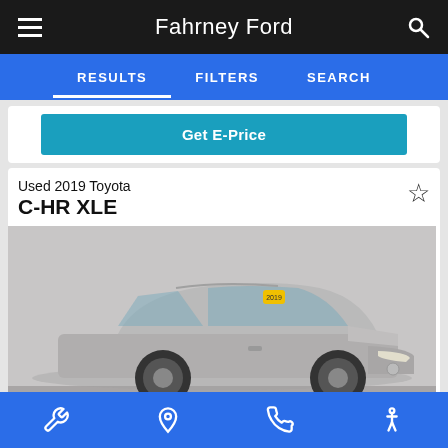Fahrney Ford
RESULTS   FILTERS   SEARCH
Get E-Price
Used 2019 Toyota C-HR XLE
[Figure (photo): Silver 2019 Toyota C-HR XLE SUV photographed from a front three-quarter angle in a dealership or studio setting with a light gray background. A yellow sticker is visible on the windshield.]